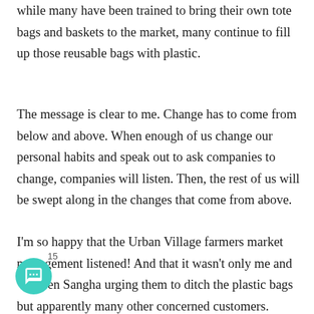while many have been trained to bring their own tote bags and baskets to the market, many continue to fill up those reusable bags with plastic.
The message is clear to me. Change has to come from below and above. When enough of us change our personal habits and speak out to ask companies to change, companies will listen. Then, the rest of us will be swept along in the changes that come from above.
I'm so happy that the Urban Village farmers market management listened! And that it wasn't only me and en Sangha urging them to ditch the plastic bags but apparently many other concerned customers.
15